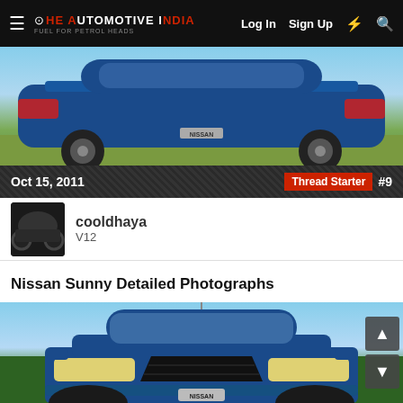The Automotive India — Log In  Sign Up
[Figure (photo): Rear three-quarter view of a blue Nissan Sunny sedan parked outdoors with trees and sky in background]
Oct 15, 2011   Thread Starter  #9
[Figure (photo): Profile photo of user cooldhaya showing a dark car]
cooldhaya
V12
Nissan Sunny Detailed Photographs
[Figure (photo): Front view of a blue Nissan Sunny sedan with headlights on, antenna visible, trees in background]